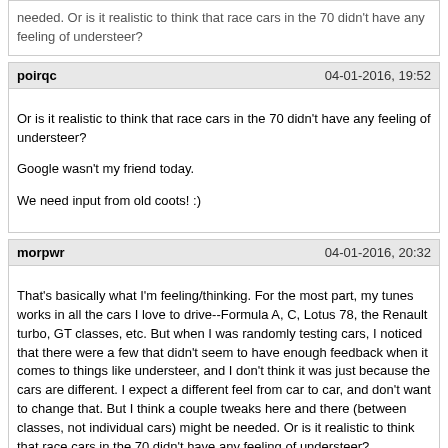needed. Or is it realistic to think that race cars in the 70 didn't have any feeling of understeer?
poirqc | 04-01-2016, 19:52
Or is it realistic to think that race cars in the 70 didn't have any feeling of understeer?

Google wasn't my friend today.

We need input from old coots! :)
morpwr | 04-01-2016, 20:32
That's basically what I'm feeling/thinking. For the most part, my tunes works in all the cars I love to drive--Formula A, C, Lotus 78, the Renault turbo, GT classes, etc. But when I was randomly testing cars, I noticed that there were a few that didn't seem to have enough feedback when it comes to things like understeer, and I don't think it was just because the cars are different. I expect a different feel from car to car, and don't want to change that. But I think a couple tweaks here and there (between classes, not individual cars) might be needed. Or is it realistic to think that race cars in the 70 didn't have any feeling of understeer?

Race cars and tires of the 60-70s were a handful to drive in most cases. The tires if you aren't old enough to have ever driven bias ply tires were crap by todays standards. If you spit on the ground bias plys would spin.lol Yes unfortunately bias plys were still around when I started driving and being I own a shop that repairs a lot of old stuff I occasionally get a reminder of how bad the early stuff was compared to today. You can tell the minute you get in a car the has bias ply tires on it.
Haiden | 04-01-2016, 21:10
Race cars and tires of the 60-70s were a handful to drive in most cases. The